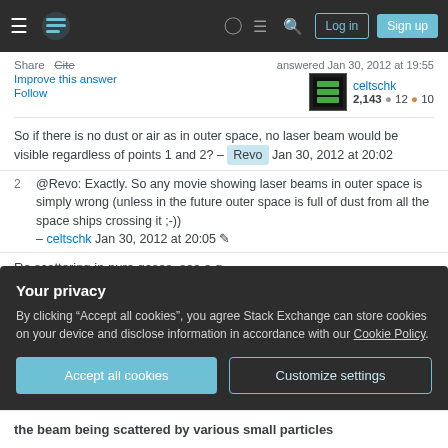Stack Exchange navigation bar with hamburger menu, logo, help, chat, search, Log in and Sign up buttons
Share   Cite    answered Jan 30, 2012 at 19:55
Improve this answer
Follow
celtschk  2,143 ● 12 ● 10
So if there is no dust or air as in outer space, no laser beam would be visible regardless of points 1 and 2? – Revo Jan 30, 2012 at 20:02
@Revo: Exactly. So any movie showing laser beams in outer space is simply wrong (unless in the future outer space is full of dust from all the space ships crossing it ;-)) – celtschk Jan 30, 2012 at 20:05
Re scattering in pure gases, see e.g.
Your privacy
By clicking "Accept all cookies", you agree Stack Exchange can store cookies on your device and disclose information in accordance with our Cookie Policy.
Accept all cookies   Customize settings
the beam being scattered by various small particles